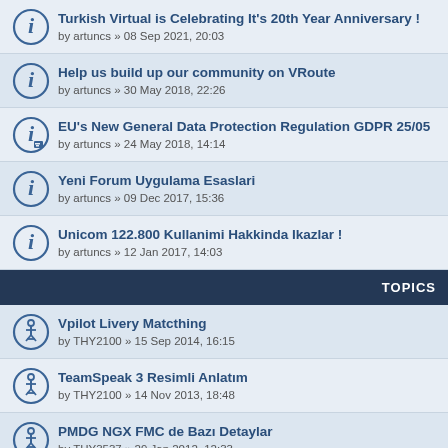Turkish Virtual is Celebrating It's 20th Year Anniversary ! by artuncs » 08 Sep 2021, 20:03
Help us build up our community on VRoute by artuncs » 30 May 2018, 22:26
EU's New General Data Protection Regulation GDPR 25/05 by artuncs » 24 May 2018, 14:14
Yeni Forum Uygulama Esaslari by artuncs » 09 Dec 2017, 15:36
Unicom 122.800 Kullanimi Hakkinda Ikazlar ! by artuncs » 12 Jan 2017, 14:03
TOPICS
Vpilot Livery Matcthing by THY2100 » 15 Sep 2014, 16:15
TeamSpeak 3 Resimli Anlatım by THY2100 » 14 Nov 2013, 18:48
PMDG NGX FMC de Bazı Detaylar by THY3537 » 29 Jan 2012, 12:33